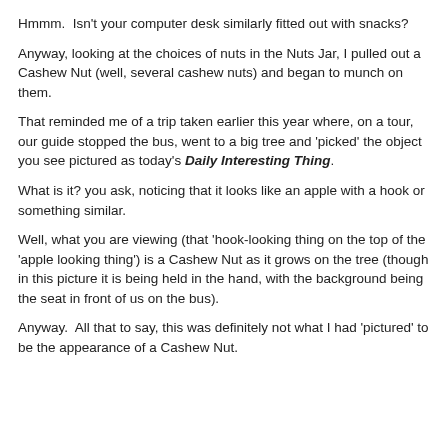Hmmm.  Isn't your computer desk similarly fitted out with snacks?
Anyway, looking at the choices of nuts in the Nuts Jar, I pulled out a Cashew Nut (well, several cashew nuts) and began to munch on them.
That reminded me of a trip taken earlier this year where, on a tour, our guide stopped the bus, went to a big tree and 'picked' the object you see pictured as today's Daily Interesting Thing.
What is it? you ask, noticing that it looks like an apple with a hook or something similar.
Well, what you are viewing (that 'hook-looking thing on the top of the 'apple looking thing') is a Cashew Nut as it grows on the tree (though in this picture it is being held in the hand, with the background being the seat in front of us on the bus).
Anyway.  All that to say, this was definitely not what I had 'pictured' to be the appearance of a Cashew Nut.